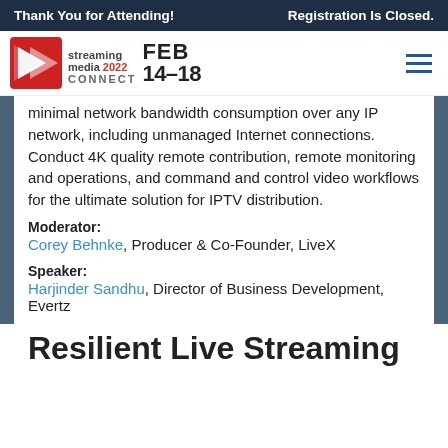Thank You for Attending!    Registration Is Closed.
[Figure (logo): Streaming Media 2022 Connect FEB 14-18 logo with red arrow icon and hamburger menu]
minimal network bandwidth consumption over any IP network, including unmanaged Internet connections. Conduct 4K quality remote contribution, remote monitoring and operations, and command and control video workflows for the ultimate solution for IPTV distribution.
Moderator:
Corey Behnke, Producer & Co-Founder, LiveX
Speaker:
Harjinder Sandhu, Director of Business Development, Evertz
Resilient Live Streaming